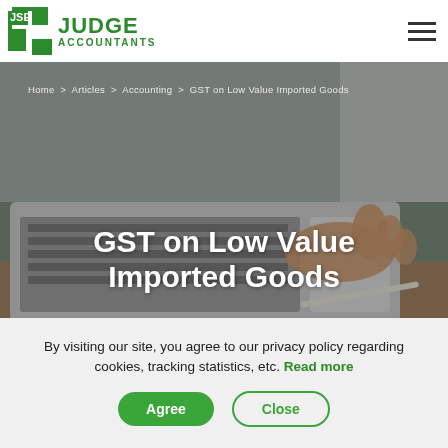JSE JUDGE ACCOUNTANTS
[Figure (photo): Person's hand on a laptop keyboard/trackpad, blurred background, used as hero banner image]
Home > Articles > Accounting > GST on Low Value Imported Goods
GST on Low Value Imported Goods
By visiting our site, you agree to our privacy policy regarding cookies, tracking statistics, etc. Read more